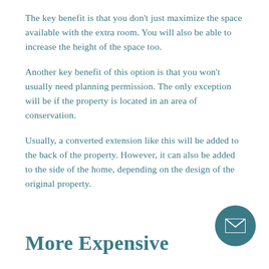The key benefit is that you don't just maximize the space available with the extra room. You will also be able to increase the height of the space too.
Another key benefit of this option is that you won't usually need planning permission. The only exception will be if the property is located in an area of conservation.
Usually, a converted extension like this will be added to the back of the property. However, it can also be added to the side of the home, depending on the design of the original property.
More Expensive